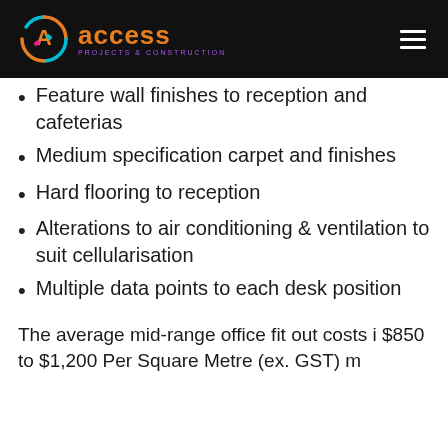[Figure (logo): Access Projects & Construction logo with colourful circular icon and orange text on black header bar]
Feature wall finishes to reception and cafeterias
Medium specification carpet and finishes
Hard flooring to reception
Alterations to air conditioning & ventilation to suit cellularisation
Multiple data points to each desk position
The average mid-range office fit out costs i $850 to $1,200 Per Square Metre (ex. GST) m